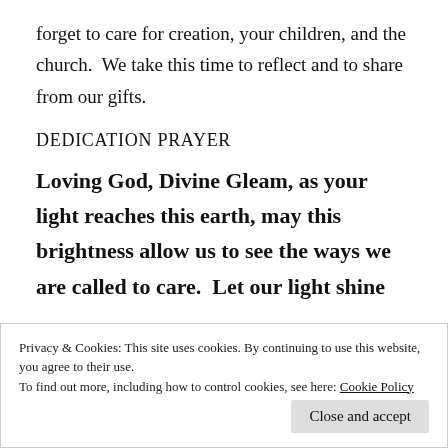forget to care for creation, your children, and the church.  We take this time to reflect and to share from our gifts.
DEDICATION PRAYER
Loving God, Divine Gleam, as your light reaches this earth, may this brightness allow us to see the ways we are called to care.  Let our light shine
Privacy & Cookies: This site uses cookies. By continuing to use this website, you agree to their use.
To find out more, including how to control cookies, see here: Cookie Policy
Close and accept